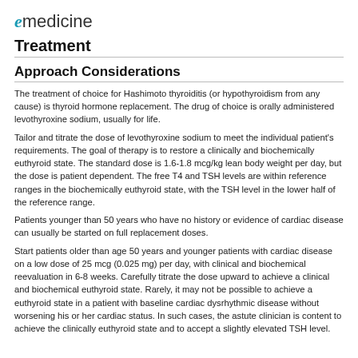emedicine
Treatment
Approach Considerations
The treatment of choice for Hashimoto thyroiditis (or hypothyroidism from any cause) is thyroid hormone replacement. The drug of choice is orally administered levothyroxine sodium, usually for life.
Tailor and titrate the dose of levothyroxine sodium to meet the individual patient's requirements. The goal of therapy is to restore a clinically and biochemically euthyroid state. The standard dose is 1.6-1.8 mcg/kg lean body weight per day, but the dose is patient dependent. The free T4 and TSH levels are within reference ranges in the biochemically euthyroid state, with the TSH level in the lower half of the reference range.
Patients younger than 50 years who have no history or evidence of cardiac disease can usually be started on full replacement doses.
Start patients older than age 50 years and younger patients with cardiac disease on a low dose of 25 mcg (0.025 mg) per day, with clinical and biochemical reevaluation in 6-8 weeks. Carefully titrate the dose upward to achieve a clinical and biochemical euthyroid state. Rarely, it may not be possible to achieve a euthyroid state in a patient with baseline cardiac dysrhythmic disease without worsening his or her cardiac status. In such cases, the astute clinician is content to achieve the clinically euthyroid state and to accept a slightly elevated TSH level.